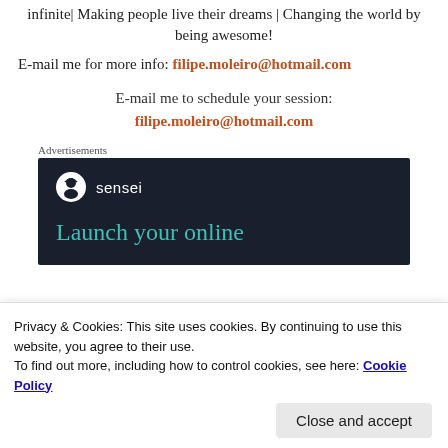infinite| Making people live their dreams | Changing the world by being awesome!
E-mail me for more info: filipe.moleiro@hotmail.com
E-mail me to schedule your session:
filipe.moleiro@hotmail.com
Advertisements
[Figure (other): Sensei advertisement banner showing logo and 'Launch your online' text on dark background]
Privacy & Cookies: This site uses cookies. By continuing to use this website, you agree to their use.
To find out more, including how to control cookies, see here: Cookie Policy